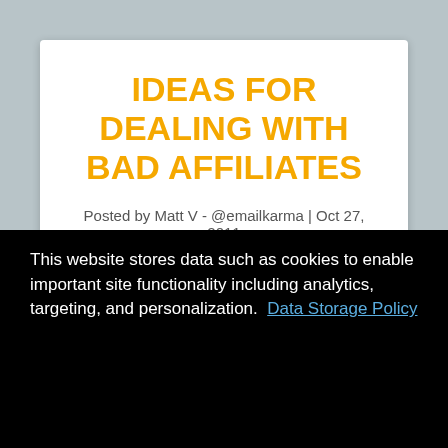IDEAS FOR DEALING WITH BAD AFFILIATES
Posted by Matt V - @emailkarma | Oct 27, 2011
This website stores data such as cookies to enable important site functionality including analytics, targeting, and personalization.  Data Storage Policy